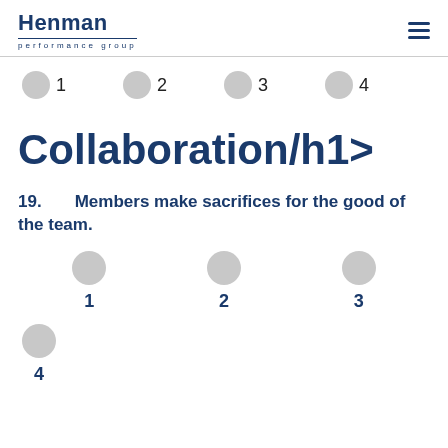Henman performance group
[Figure (infographic): Four step progress indicator with circles numbered 1, 2, 3, 4]
Collaboration/h1>
19.      Members make sacrifices for the good of the team.
[Figure (infographic): Answer scale with circles numbered 1, 2, 3, 4]